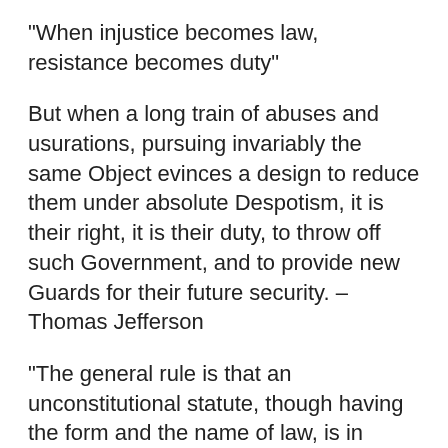“When injustice becomes law, resistance becomes duty”
But when a long train of abuses and usurations, pursuing invariably the same Object evinces a design to reduce them under absolute Despotism, it is their right, it is their duty, to throw off such Government, and to provide new Guards for their future security. – Thomas Jefferson
“The general rule is that an unconstitutional statute, though having the form and the name of law, is in reality no law, but is wholly void and ineffective for any purpose since unconstitutionality dates from the time of its enactment and not merely